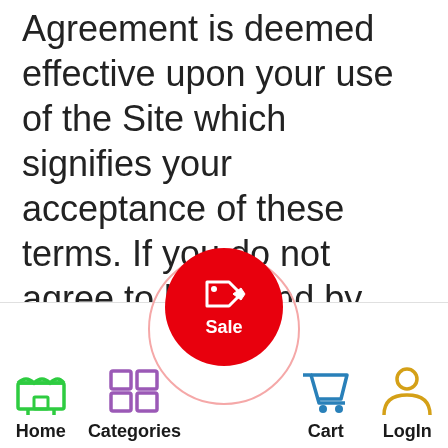Agreement is deemed effective upon your use of the Site which signifies your acceptance of these terms. If you do not agree to be bound by this User Agreement please do not access, register with
[Figure (screenshot): Mobile app navigation bar with Home, Categories, Sale (red circle button), Cart, and LogIn icons]